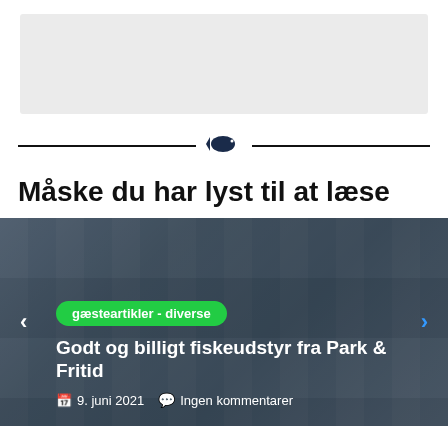[Figure (other): Light grey advertisement banner placeholder]
[Figure (illustration): Horizontal divider with fish icon in the center and lines on either side]
Måske du har lyst til at læse
[Figure (photo): Card showing fishing equipment products on store shelves with category tag 'gæsteartikler - diverse', article title 'Godt og billigt fiskeudstyr fra Park & Fritid', date '9. juni 2021' and 'Ingen kommentarer'. Left and right navigation arrows visible.]